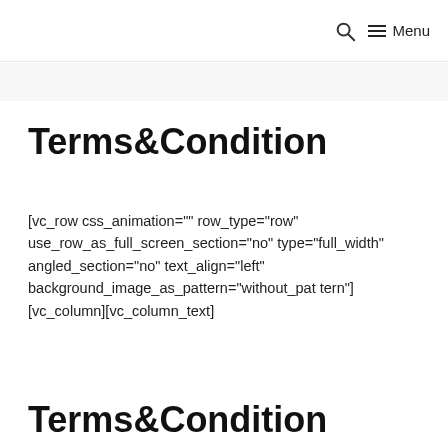🔍  ☰ Menu
Terms&Condition
[vc_row css_animation="" row_type="row" use_row_as_full_screen_section="no" type="full_width" angled_section="no" text_align="left" background_image_as_pattern="without_pattern"][vc_column][vc_column_text]
Terms&Condition